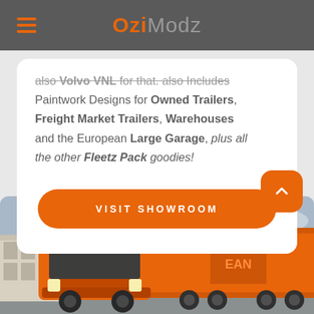OziModz
also Includes Paintwork Designs for Owned Trailers, Freight Market Trailers, Warehouses and the European Large Garage, plus all the other Fleetz Pack goodies!
VISIT SHOWROOM
[Figure (photo): Orange truck with trailer in a parking/industrial area with cloudy sky, buildings and trees in background]